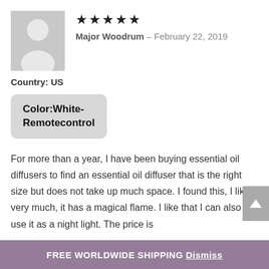[Figure (illustration): Gray placeholder avatar image showing silhouette of a person (head and shoulders) on a light gray background]
★★★★★
Major Woodrum – February 22, 2019
Country: US
Color:White-Remotecontrol
For more than a year, I have been buying essential oil diffusers to find an essential oil diffuser that is the right size but does not take up much space. I found this, I like it very much, it has a magical flame. I like that I can also use it as a night light. The price is
FREE WORLDWIDE SHIPPING Dismiss